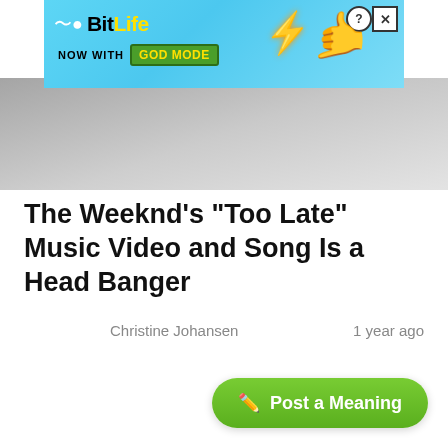[Figure (screenshot): BitLife advertisement banner with 'NOW WITH GOD MODE' text on blue background with lightning bolt and hand illustration]
[Figure (photo): Hero image area, partially visible background photo in grayscale/muted tones]
The Weeknd's "Too Late" Music Video and Song Is a Head Banger
Christine Johansen
1 year ago
Post a Meaning